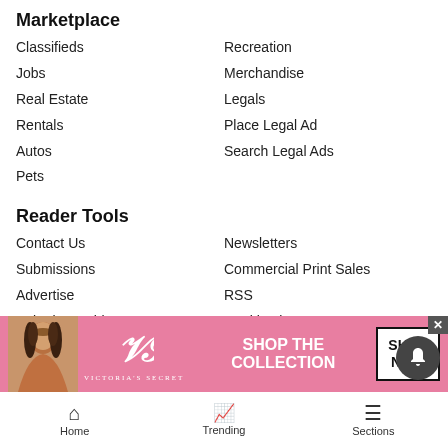Marketplace
Classifieds
Jobs
Real Estate
Rentals
Autos
Pets
Recreation
Merchandise
Legals
Place Legal Ad
Search Legal Ads
Reader Tools
Contact Us
Submissions
Advertise
Submit an Obituary
Magazines
Archives
About Us
Newsletters
Commercial Print Sales
RSS
Cookie List
Do not sell my personal information
News Neighbors
Steambo...
Aspen-S...
[Figure (infographic): Victoria's Secret advertisement banner with model, VS logo, 'SHOP THE COLLECTION' text, and 'SHOP NOW' button]
Home   Trending   Sections